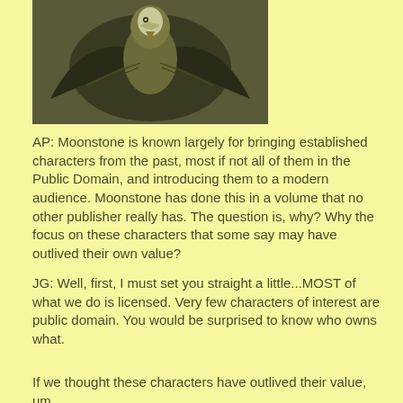[Figure (photo): Dark artistic illustration of a bird (eagle or similar large bird) with spread wings against a muted dark background]
AP: Moonstone is known largely for bringing established characters from the past, most if not all of them in the Public Domain, and introducing them to a modern audience. Moonstone has done this in a volume that no other publisher really has. The question is, why? Why the focus on these characters that some say may have outlived their own value?
JG: Well, first, I must set you straight a little...MOST of what we do is licensed. Very few characters of interest are public domain. You would be surprised to know who owns what.
If we thought these characters have outlived their value, um